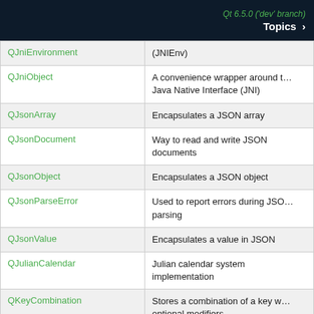Qt 6.5.0 ('dev' branch) Topics
| Class | Description |
| --- | --- |
| QJniEnvironment | (JNIEnv) |
| QJniObject | A convenience wrapper around the Java Native Interface (JNI) |
| QJsonArray | Encapsulates a JSON array |
| QJsonDocument | Way to read and write JSON documents |
| QJsonObject | Encapsulates a JSON object |
| QJsonParseError | Used to report errors during JSON parsing |
| QJsonValue | Encapsulates a value in JSON |
| QJulianCalendar | Julian calendar system implementation |
| QKeyCombination | Stores a combination of a key with optional modifiers |
| QKeyValueIterator | Iterator over the key/value pairs of an associative container |